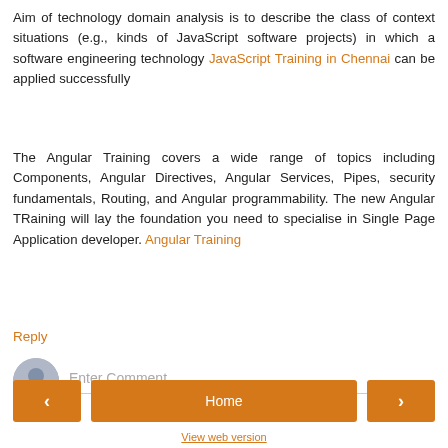Aim of technology domain analysis is to describe the class of context situations (e.g., kinds of JavaScript software projects) in which a software engineering technology JavaScript Training in Chennai can be applied successfully
The Angular Training covers a wide range of topics including Components, Angular Directives, Angular Services, Pipes, security fundamentals, Routing, and Angular programmability. The new Angular TRaining will lay the foundation you need to specialise in Single Page Application developer. Angular Training
Reply
[Figure (illustration): User avatar circle with person silhouette icon and Enter Comment input field with bottom border]
[Figure (infographic): Navigation bar with left arrow button, Home button, and right arrow button, all in orange]
View web version